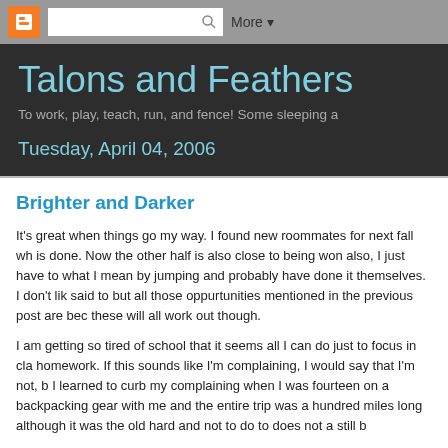Blogger navbar with icon, search box, and More menu
Talons and Feathers
To work, play, teach, run, and fence! Some sleeping a
Tuesday, April 04, 2006
Brighter and Darker
It's great when things go my way. I found new roommates for next fall wh is done. Now the other half is also close to being won also, I just have to what I mean by jumping and probably have done it themselves. I don't lik said to but all those oppurtunities mentioned in the previous post are bec these will all work out though.
I am getting so tired of school that it seems all I can do just to focus in cla homework. If this sounds like I'm complaining, I would say that I'm not, b I learned to curb my complaining when I was fourteen on a backpacking gear with me and the entire trip was a hundred miles long although it was the old hard and not to do to does not a still b